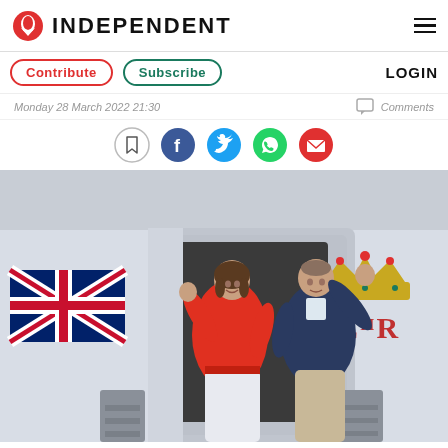INDEPENDENT
Contribute  Subscribe  LOGIN
Monday 28 March 2022 21:30   Comments
[Figure (other): Social sharing icons: bookmark, Facebook, Twitter, WhatsApp, email]
[Figure (photo): Two people waving from the doorway of an aircraft at an airport. The woman on the left wears a red jacket and white trousers; the man on the right wears a navy blazer. The aircraft livery shows a Union Jack flag and an EIIR royal cypher with crown.]